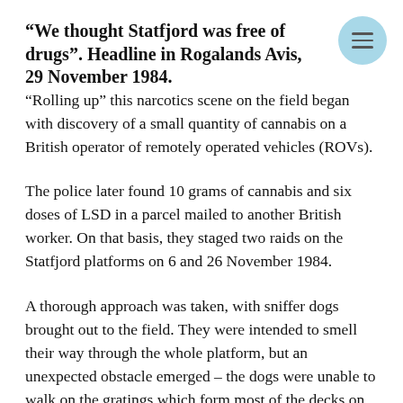“We thought Statfjord was free of drugs”. Headline in Rogalands Avis, 29 November 1984.
“Rolling up” this narcotics scene on the field began with discovery of a small quantity of cannabis on a British operator of remotely operated vehicles (ROVs).
The police later found 10 grams of cannabis and six doses of LSD in a parcel mailed to another British worker. On that basis, they staged two raids on the Statfjord platforms on 6 and 26 November 1984.
A thorough approach was taken, with sniffer dogs brought out to the field. They were intended to smell their way through the whole platform, but an unexpected obstacle emerged – the dogs were unable to walk on the gratings which form most of the decks on Statfjord A. So the raid was confined to the living quarters, which had normal floors.[2]